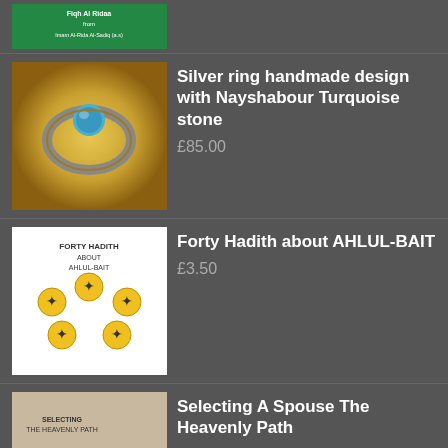(partial top item — book image visible)
Silver ring handmade design with Nayshabour Turquoise stone
£85.00
Forty Hadith about AHLUL-BAIT
£3.50
Selecting A Spouse The Heavenly Path
£6.00
The Great Muslim Scientist Imam Jafar Ibn Muhammad as-Sadiq (a.s
£4.00
Al-Tawhid
£5.00